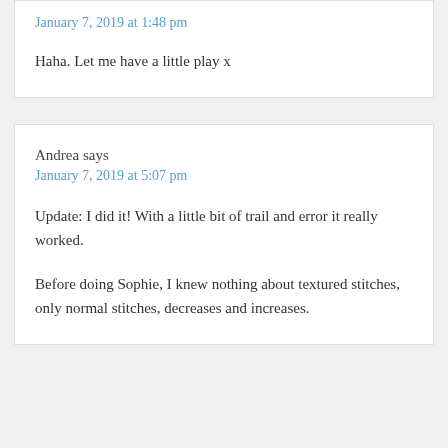January 7, 2019 at 1:48 pm
Haha. Let me have a little play x
Andrea says
January 7, 2019 at 5:07 pm
Update: I did it! With a little bit of trail and error it really worked.
Before doing Sophie, I knew nothing about textured stitches, only normal stitches, decreases and increases.